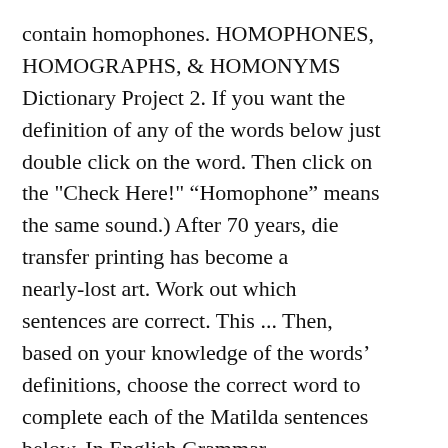contain homophones. HOMOPHONES, HOMOGRAPHS, & HOMONYMS Dictionary Project 2. If you want the definition of any of the words below just double click on the word. Then click on the "Check Here!" “Homophone” means the same sound.) After 70 years, die transfer printing has become a nearly-lost art. Work out which sentences are correct. This ... Then, based on your knowledge of the words’ definitions, choose the correct word to complete each of the Matilda sentences below. In English Grammar, Homophones refer to the pair of words that sound similar in pronunciation but they have different meanings and spellings. The homophone for dye is die. Make sure you check out our complete homophones list. HOMOPHONES Words